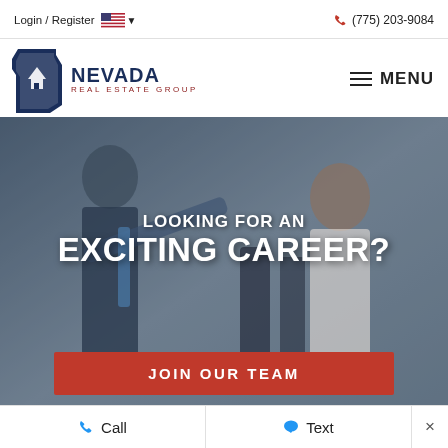Login / Register  (775) 203-9084
[Figure (logo): Nevada Real Estate Group logo with Nevada state outline shape in dark blue and NEVADA REAL ESTATE GROUP text]
MENU
[Figure (photo): Business professionals in office setting, celebrating or high-fiving, with overlay text LOOKING FOR AN EXCITING CAREER? and a JOIN OUR TEAM red button]
Call  Text  ×